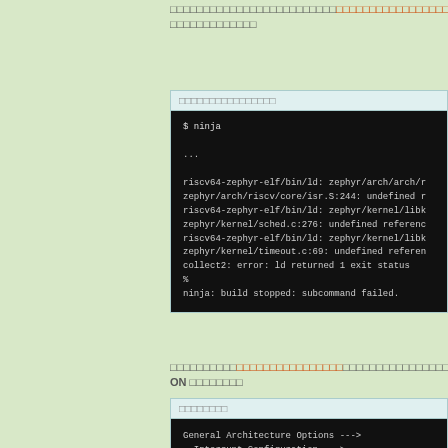□□□□□□□□□□□□□□□□□□□□□□□□□□□ (highlighted) □□□□□□□□□□□□□□□□□□□□□□□□□□□□□□□□□□
□□□□□□□□□□□□□□□□
[Figure (screenshot): Terminal output showing ninja build command with RISC-V linker errors: undefined references in arch, kernel/sched.c, kernel/timeout.c, collect2 error, ninja build stopped subcommand failed]
□□□□□□□□□□ (link: □□□□□□□□□□□□□□□□) □□□□□□□□□□□□□□□□□□□□□□□ ON □□□□□□□□
□□□□□□□□
[Figure (screenshot): Menu config terminal showing: General Architecture Options ---> Interrupt Configuration ---> [ ] Use generated IRQ tables □□□]